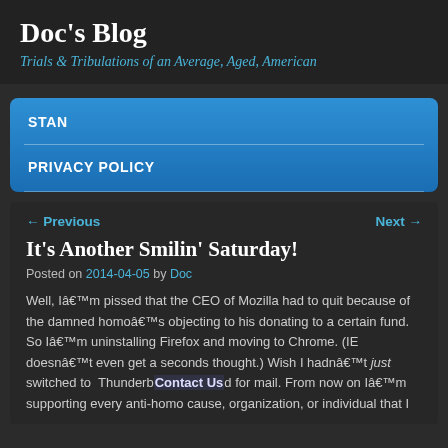Doc's Blog
Trials & Tribulations of an Average, Aged, American
STAN
PRIVACY POLICY
← Previous
Next →
It's Another Smilin' Saturday!
Posted on 2014-04-05 by Doc
Well, Iâ€™m pissed that the CEO of Mozilla had to quit because of the damned homoâ€™s objecting to his donating to a certain fund. So Iâ€™m uninstalling Firefox and moving to Chrome. (IE doesnâ€™t even get a seconds thought.) Wish I hadnâ€™t just switched to  ThunderbirContact Usd for mail. From now on Iâ€™m supporting every anti-homo cause, organization, or individual that I